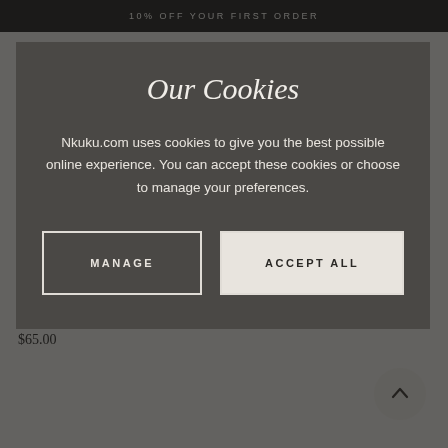10% OFF YOUR FIRST ORDER
[Figure (photo): Product photo of Malia Serving Bowl, dark earthy tones, fabric/ceramic texture visible]
Malia Serving Bowl
$65.00
Our Cookies
Nkuku.com uses cookies to give you the best possible online experience. You can accept these cookies or choose to manage your preferences.
MANAGE
ACCEPT ALL